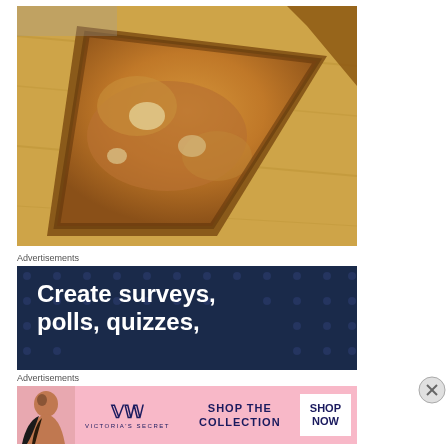[Figure (photo): Close-up photo of a cooked piece of meat or bread on a wooden cutting board, golden-brown surface with seasoning visible]
Advertisements
[Figure (screenshot): Advertisement with dark navy blue background with dot pattern, white bold text reading 'Create surveys, polls, quizzes,']
Advertisements
[Figure (screenshot): Victoria's Secret advertisement with pink background showing a woman, VS logo, text 'SHOP THE COLLECTION' and 'SHOP NOW' button]